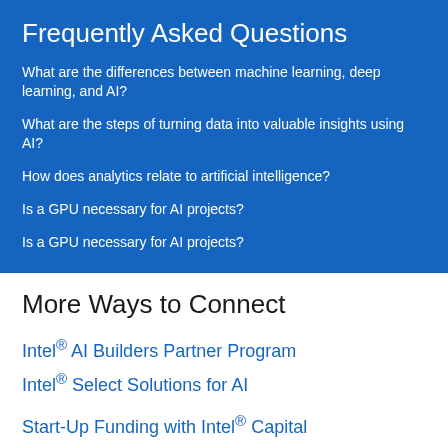Frequently Asked Questions
What are the differences between machine learning, deep learning, and AI?
What are the steps of turning data into valuable insights using AI?
How does analytics relate to artificial intelligence?
Is a GPU necessary for AI projects?
Is a GPU necessary for AI projects?
More Ways to Connect
Intel® AI Builders Partner Program
Intel® Select Solutions for AI
Start-Up Funding with Intel® Capital
Intel® AI Podcast